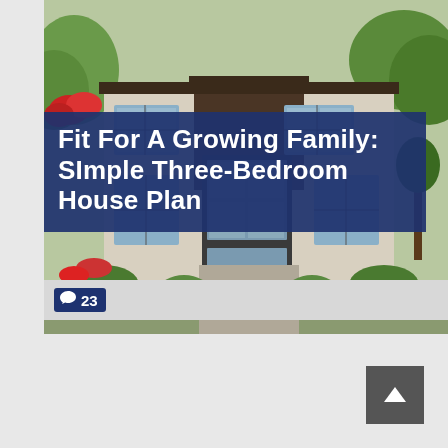[Figure (photo): Exterior photo of a simple three-bedroom house with gray siding, brown accents, front door, and landscaping with red flowers and green shrubs]
Fit For A Growing Family: SImple Three-Bedroom House Plan
💬 23